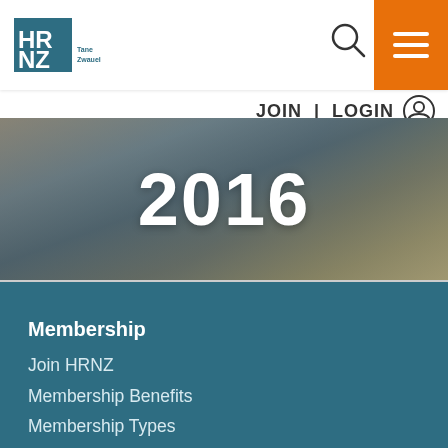[Figure (logo): HRNZ logo — blue block letters HR over NZ with small tagline text]
[Figure (other): Search magnifying glass icon]
[Figure (other): Orange hamburger menu button with three white horizontal bars]
JOIN | LOGIN
[Figure (photo): Blurred background photo of what appears to be wooden blocks or craft materials, dark tones]
2016
Membership
Join HRNZ
Membership Benefits
Membership Types
Monthly Payment Option
Mobile Discount App